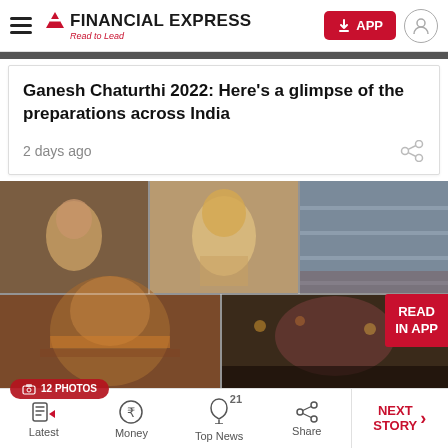Financial Express – Read to Lead
Ganesh Chaturthi 2022: Here's a glimpse of the preparations across India
2 days ago
[Figure (photo): Photo grid showing Ganesh Chaturthi 2022 preparations across India – children in traditional dress, decorated idol, and crowd in a mall/event space]
Latest | Money | Top News (21) | Share | NEXT STORY